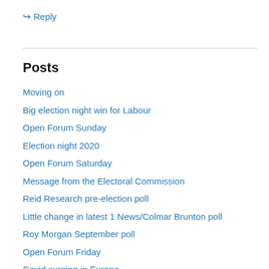↪ Reply
Posts
Moving on
Big election night win for Labour
Open Forum Sunday
Election night 2020
Open Forum Saturday
Message from the Electoral Commission
Reid Research pre-election poll
Little change in latest 1 News/Colmar Brunton poll
Roy Morgan September poll
Open Forum Friday
Covid surging in Europe
National, Greens may boost Labour vote
Claim that Peters was briefed on NZ First Foundation operations
Open Forum Thursday